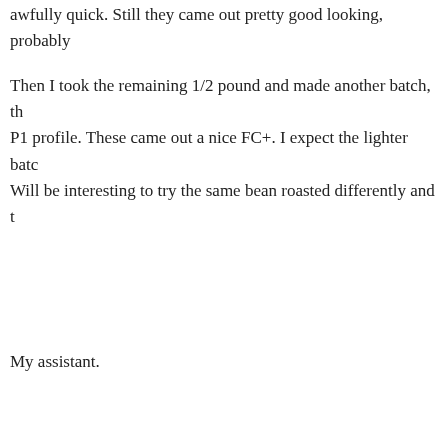awfully quick. Still they came out pretty good looking, probably...
Then I took the remaining 1/2 pound and made another batch, th... P1 profile. These came out a nice FC+. I expect the lighter batc... Will be interesting to try the same bean roasted differently and t...
My assistant.
The darker batch.
Bean counter.